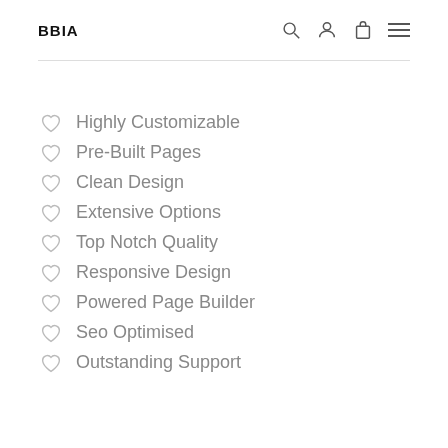BBIA
Highly Customizable
Pre-Built Pages
Clean Design
Extensive Options
Top Notch Quality
Responsive Design
Powered Page Builder
Seo Optimised
Outstanding Support